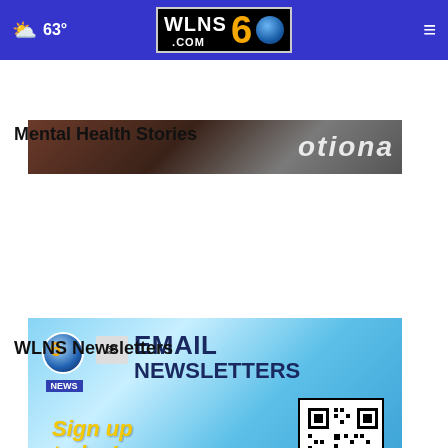63° WLNS 6 .COM
[Figure (photo): Partial image showing text 'otiona' in white on dark background]
Mental Health Stories
[Figure (infographic): WLNS 6 News Email Newsletters sign up today advertisement with QR code]
WLNS Newsletters
[Figure (photo): Abood Law Firm advertisement - Personal Injury, 517-332-5900, Contact Us, with close button]